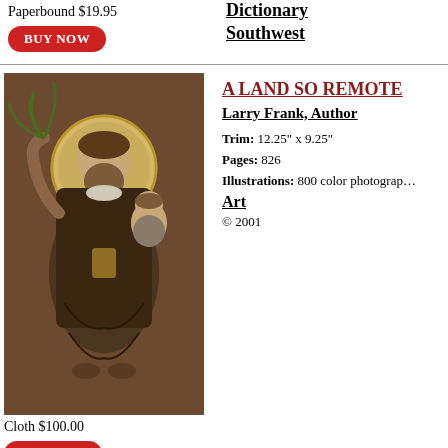Paperbound $19.95
BUY NOW
Dictionary Southwest
[Figure (photo): Religious painting of a saint with halo holding a child, traditional New Mexico style artwork]
A LAND SO REMOTE
Larry Frank, Author
Trim: 12.25" x 9.25"
Pages: 826
Illustrations: 800 color photographs
Art
© 2001
Cloth $100.00
BUY NOW
[Figure (photo): Book cover of A Land So Remote Volume 1: Religious Art of New Mexico, 1780-1907, featuring a colorful painted figure of the Virgin Mary]
A LAND SO REMOTE
Volume 1: Religious Art of New Mexico, 1780-1907
Larry Frank, Author
Trim: 12.25" x 9.25"
Pages: 282